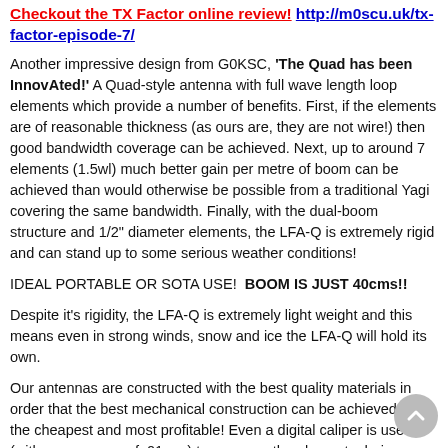Checkout the TX Factor online review! http://m0scu.uk/tx-factor-episode-7/
Another impressive design from G0KSC, 'The Quad has been InnovAted!' A Quad-style antenna with full wave length loop elements which provide a number of benefits. First, if the elements are of reasonable thickness (as ours are, they are not wire!) then good bandwidth coverage can be achieved. Next, up to around 7 elements (1.5wl) much better gain per metre of boom can be achieved than would otherwise be possible from a traditional Yagi covering the same bandwidth. Finally, with the dual-boom structure and 1/2" diameter elements, the LFA-Q is extremely rigid and can stand up to some serious weather conditions!
IDEAL PORTABLE OR SOTA USE!  BOOM IS JUST 40cms!!
Despite it's rigidity, the LFA-Q is extremely light weight and this means even in strong winds, snow and ice the LFA-Q will hold its own.
Our antennas are constructed with the best quality materials in order that the best mechanical construction can be achieved, not the cheapest and most profitable! Even a digital caliper is used (with an accuracy of .01mm) to measure the elements during production to ensure they are within 0.2mm of what they should be, ensuring they work as well as our